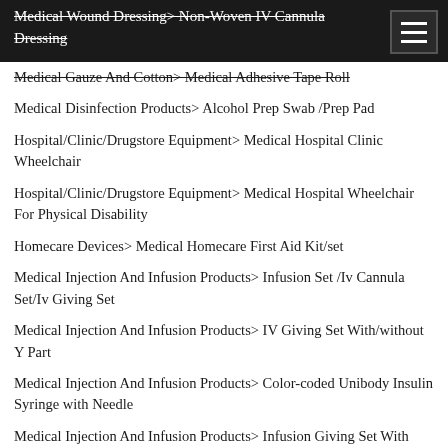Medical Wound Dressing> Non-Woven IV Cannula Dressing
Medical Gauze And Cotton> Medical Adhesive Tape Roll
Medical Disinfection Products> Alcohol Prep Swab /Prep Pad
Hospital/Clinic/Drugstore Equipment> Medical Hospital Clinic Wheelchair
Hospital/Clinic/Drugstore Equipment> Medical Hospital Wheelchair For Physical Disability
Homecare Devices> Medical Homecare First Aid Kit/set
Medical Injection And Infusion Products> Infusion Set /Iv Cannula Set/Iv Giving Set
Medical Injection And Infusion Products> IV Giving Set With/without Y Part
Medical Injection And Infusion Products> Color-coded Unibody Insulin Syringe with Needle
Medical Injection And Infusion Products> Infusion Giving Set With Filter